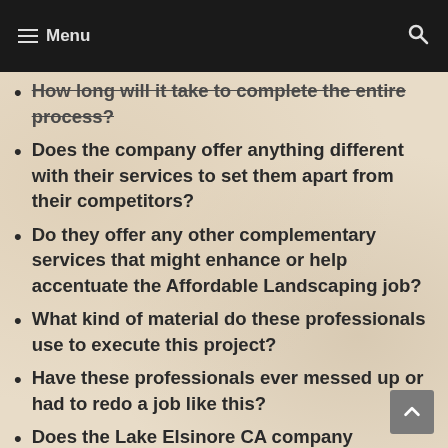Menu
How long will it take to complete the entire process?
Does the company offer anything different with their services to set them apart from their competitors?
Do they offer any other complementary services that might enhance or help accentuate the Affordable Landscaping job?
What kind of material do these professionals use to execute this project?
Have these professionals ever messed up or had to redo a job like this?
Does the Lake Elsinore CA company